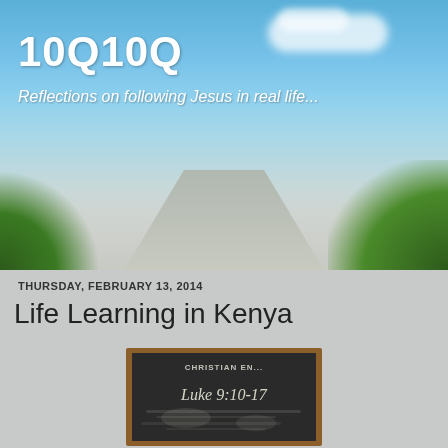10Q10Q
Reflections on following Jesus in real life...
THURSDAY, FEBRUARY 13, 2014
Life Learning in Kenya
[Figure (photo): A chalkboard with 'CHRISTIAN EN...' written at top and 'Luke 9:10-17' written in chalk, framed in wood]